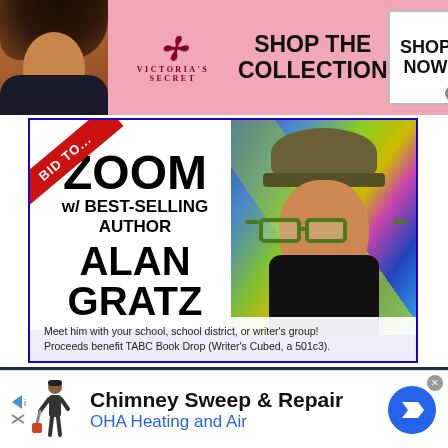[Figure (photo): Victoria's Secret advertisement banner with model, logo, 'SHOP THE COLLECTION' text and 'SHOP NOW' button]
[Figure (photo): Auction post for Zoom with best-selling author Alan Gratz. Blue background with photo of bearded man in hat and glasses. Red ribbon 'BID TO...' in corner. Text: ZOOM w/ BEST-SELLING AUTHOR ALAN GRATZ]
Meet him with your school, school district, or writer's group! Proceeds benefit TABC Book Drop (Writer's Cubed, a 501c3).
[Figure (screenshot): USPS Dog Bite Awareness 2021 advertisement with USPS eagle logo and 'LAST YEAR' partial text visible]
[Figure (photo): Chimney Sweep & Repair advertisement for OHA Heating and Air with chimney sweep figure icon and blue navigation arrow button]